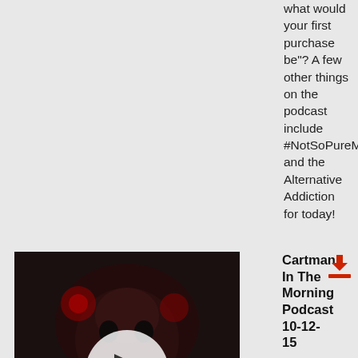what would your first purchase be"? A few other things on the podcast include #NotSoPureMichigan, and the Alternative Addiction for today!
[Figure (photo): Podcast thumbnail image showing a dark skull/horror themed artwork with a play button circle overlay in the center]
Cartman In The Morning Podcast 10-12-15
October 12th, 2015 09:34am | Duration: 14.17
On The Podcast Today... In your files for today... the worst couples costume ever, and a man who got caught for crappy reasons. Also, I asked people to call and tell me things that their parents let them do as a kid, that people might question their ability to parent those days. Great calls! And make